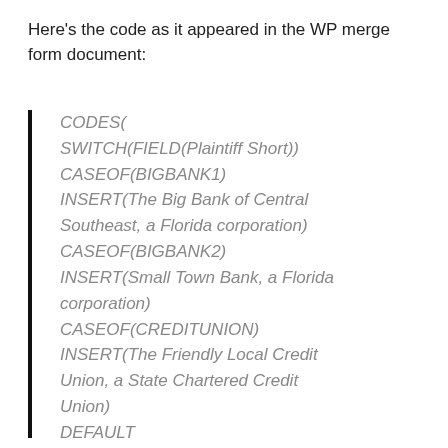Here's the code as it appeared in the WP merge form document:
CODES(
SWITCH(FIELD(Plaintiff Short))
CASEOF(BIGBANK1)
INSERT(The Big Bank of Central Southeast, a Florida corporation)
CASEOF(BIGBANK2)
INSERT(Small Town Bank, a Florida corporation)
CASEOF(CREDITUNION)
INSERT(The Friendly Local Credit Union, a State Chartered Credit Union)
DEFAULT